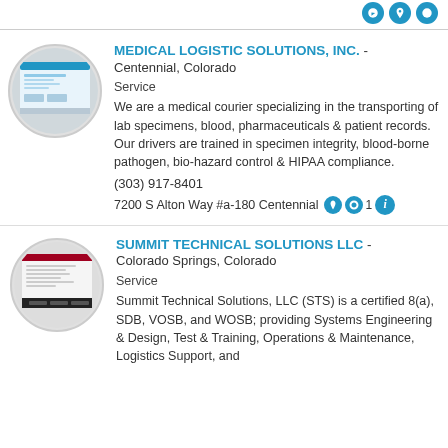MEDICAL LOGISTIC SOLUTIONS, INC. - Centennial, Colorado
Service
We are a medical courier specializing in the transporting of lab specimens, blood, pharmaceuticals & patient records. Our drivers are trained in specimen integrity, blood-borne pathogen, bio-hazard control & HIPAA compliance.
(303) 917-8401
7200 S Alton Way #a-180 Centennial, CO 80111
SUMMIT TECHNICAL SOLUTIONS LLC - Colorado Springs, Colorado
Service
Summit Technical Solutions, LLC (STS) is a certified 8(a), SDB, VOSB, and WOSB; providing Systems Engineering & Design, Test & Training, Operations & Maintenance, Logistics Support, and